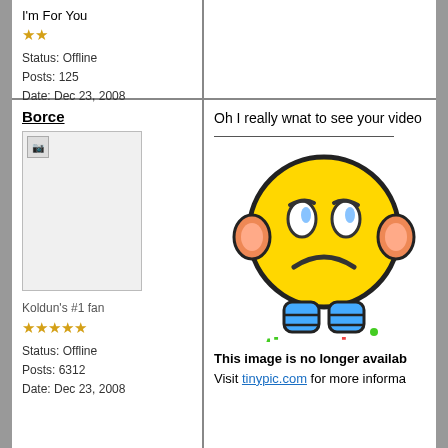I'm For You
★★
Status: Offline
Posts: 125
Date: Dec 23, 2008
Borce
[Figure (photo): Broken/missing avatar image placeholder]
Koldun's #1 fan
★★★★★
Status: Offline
Posts: 6312
Date: Dec 23, 2008
Oh I really wnat to see your video
[Figure (illustration): TinyPic 'image no longer available' error image showing a sad yellow emoji character with the tinypic.com logo]
This image is no longer availab...
Visit tinypic.com for more informa...